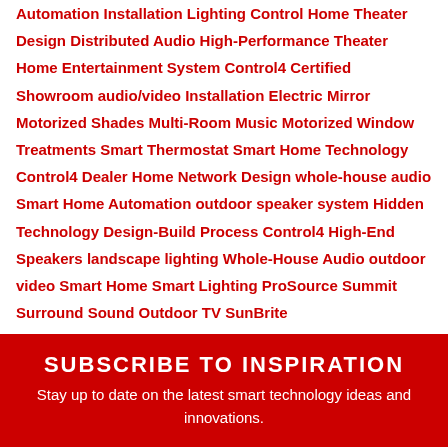Automation Installation Lighting Control Home Theater Design Distributed Audio High-Performance Theater Home Entertainment System Control4 Certified Showroom audio/video Installation Electric Mirror Motorized Shades Multi-Room Music Motorized Window Treatments Smart Thermostat Smart Home Technology Control4 Dealer Home Network Design whole-house audio Smart Home Automation outdoor speaker system Hidden Technology Design-Build Process Control4 High-End Speakers landscape lighting Whole-House Audio outdoor video Smart Home Smart Lighting ProSource Summit Surround Sound Outdoor TV SunBrite
SUBSCRIBE TO INSPIRATION
Stay up to date on the latest smart technology ideas and innovations.